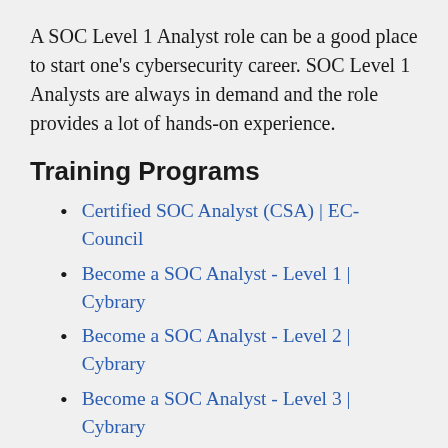A SOC Level 1 Analyst role can be a good place to start one's cybersecurity career. SOC Level 1 Analysts are always in demand and the role provides a lot of hands-on experience.
Training Programs
Certified SOC Analyst (CSA) | EC-Council
Become a SOC Analyst - Level 1 | Cybrary
Become a SOC Analyst - Level 2 | Cybrary
Become a SOC Analyst - Level 3 | Cybrary
Microsoft Certified: Security Operations Analyst Associate
A Security Operations Center is a big investment, so many organizations will outsource the roles to a